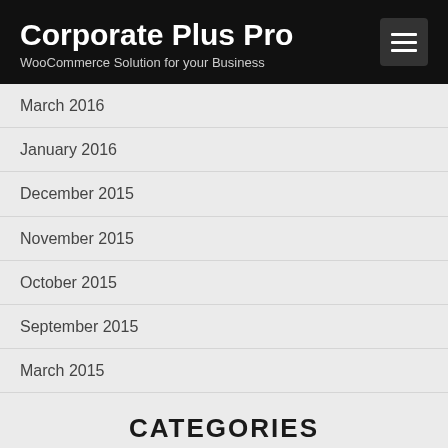Corporate Plus Pro
WooCommerce Solution for your Business
March 2016
January 2016
December 2015
November 2015
October 2015
September 2015
March 2015
CATEGORIES
Entertainment
Featured